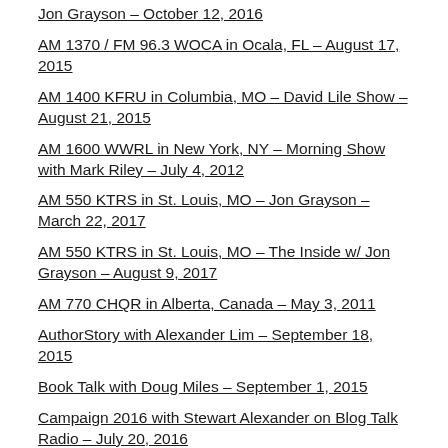Jon Grayson – October 12, 2016
AM 1370 / FM 96.3 WOCA in Ocala, FL – August 17, 2015
AM 1400 KFRU in Columbia, MO – David Lile Show – August 21, 2015
AM 1600 WWRL in New York, NY – Morning Show with Mark Riley – July 4, 2012
AM 550 KTRS in St. Louis, MO – Jon Grayson – March 22, 2017
AM 550 KTRS in St. Louis, MO – The Inside w/ Jon Grayson – August 9, 2017
AM 770 CHQR in Alberta, Canada – May 3, 2011
AuthorStory with Alexander Lim – September 18, 2015
Book Talk with Doug Miles – September 1, 2015
Campaign 2016 with Stewart Alexander on Blog Talk Radio – July 20, 2016
CTV News Channel in Canada – February 16, 2017